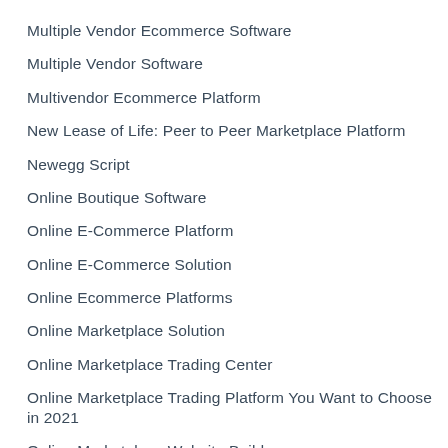Multiple Vendor Ecommerce Software
Multiple Vendor Software
Multivendor Ecommerce Platform
New Lease of Life: Peer to Peer Marketplace Platform
Newegg Script
Online Boutique Software
Online E-Commerce Platform
Online E-Commerce Solution
Online Ecommerce Platforms
Online Marketplace Solution
Online Marketplace Trading Center
Online Marketplace Trading Platform You Want to Choose in 2021
Online Marketplace Website Build...